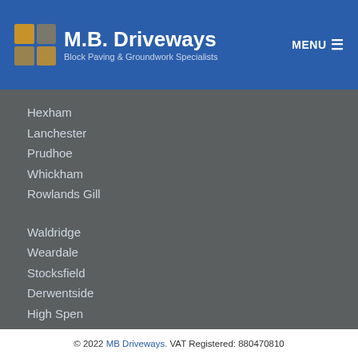M.B. Driveways — Block Paving & Groundwork Specialists | MENU
Hexham
Lanchester
Prudhoe
Whickham
Rowlands Gill
Waldridge
Weardale
Stocksfield
Derwentside
High Spen
© 2022 MB Driveways. VAT Registered: 880470810